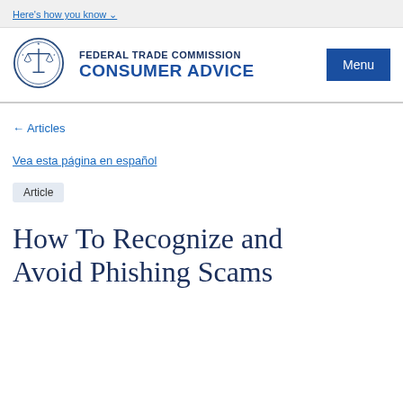Here's how you know
[Figure (logo): Federal Trade Commission seal — circular blue seal with scales of justice]
FEDERAL TRADE COMMISSION
CONSUMER ADVICE
Menu
← Articles
Vea esta página en español
Article
How To Recognize and Avoid Phishing Scams